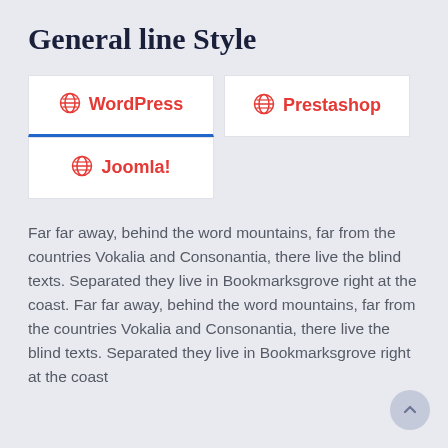General line Style
[Figure (screenshot): Tab navigation UI with three tabs: WordPress (active, underlined in blue), Prestashop, and Joomla!, each with a globe icon in red.]
Far far away, behind the word mountains, far from the countries Vokalia and Consonantia, there live the blind texts. Separated they live in Bookmarksgrove right at the coast. Far far away, behind the word mountains, far from the countries Vokalia and Consonantia, there live the blind texts. Separated they live in Bookmarksgrove right at the coast